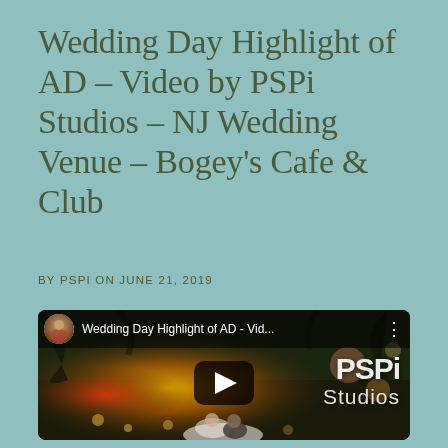Wedding Day Highlight of AD – Video by PSPi Studios – NJ Wedding Venue – Bogey's Cafe & Club
BY PSPI ON JUNE 21, 2019
[Figure (screenshot): YouTube video thumbnail showing 'Wedding Day Highlight of AD - Vid...' with a couple kissing outdoors, bokeh background with warm golden light, PSPi Studios logo overlay, and a play button in the center.]